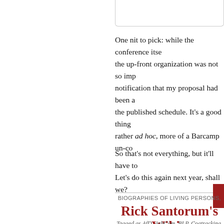[Figure (other): Rounded rectangle box at top, partially visible]
One nit to pick: while the conference itself was well run, the up-front organization was not so impressive. I only got notification that my proposal had been accepted by checking the published schedule. It's a good thing the conference is rather ad hoc, more of a Barcamp un-con...
So that's not everything, but it'll have to do for now. Let's do this again next year, shall we?
BIOGRAPHIES OF LIVING PERSONS,
Rick Santorum's Wikip
Tagged as AfD, ArbCom, BLP, Coatracking, Da Notability, Presidential campaign, RfC, Rick on A